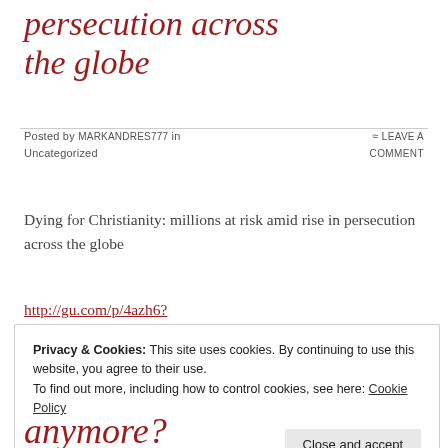persecution across the globe
Posted by markandres777 in Uncategorized
≈ Leave a comment
Dying for Christianity: millions at risk amid rise in persecution across the globe
http://gu.com/p/4azh6?CMP=Share_AndroidApp_WordPress
Privacy & Cookies: This site uses cookies. By continuing to use this website, you agree to their use.
To find out more, including how to control cookies, see here: Cookie Policy
Close and accept
anymore?